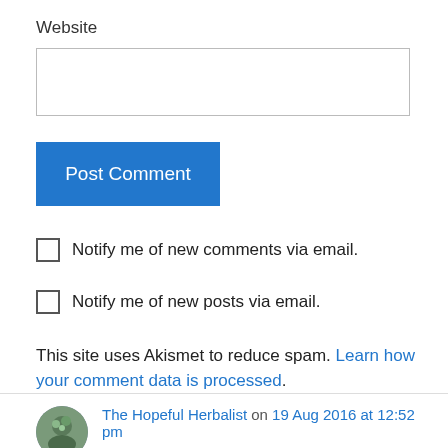Website
Post Comment
Notify me of new comments via email.
Notify me of new posts via email.
This site uses Akismet to reduce spam. Learn how your comment data is processed.
The Hopeful Herbalist on 19 Aug 2016 at 12:52 pm
Wishing you success! 😀